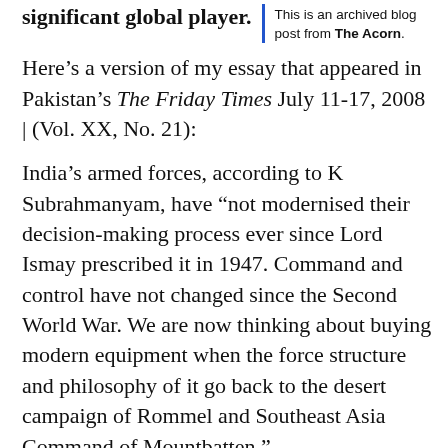significant global player.
This is an archived blog post from The Acorn.
Here’s a version of my essay that appeared in Pakistan’s The Friday Times July 11-17, 2008 | (Vol. XX, No. 21):
India’s armed forces, according to K Subrahmanyam, have “not modernised their decision-making process ever since Lord Ismay prescribed it in 1947. Command and control have not changed since the Second World War. We are now thinking about buying modern equipment when the force structure and philosophy of it go back to the desert campaign of Rommel and Southeast Asia Command of Mountbatten.”